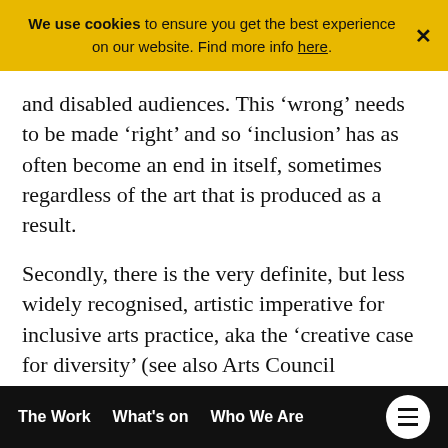We use cookies to ensure you get the best experience on our website. Find more info here.
and disabled audiences. This ‘wrong’ needs to be made ‘right’ and so ‘inclusion’ has as often become an end in itself, sometimes regardless of the art that is produced as a result.
Secondly, there is the very definite, but less widely recognised, artistic imperative for inclusive arts practice, aka the ‘creative case for diversity’ (see also Arts Council England’s policy of the same name). This finds its basis in the understanding that working inclusively can lead to more exciting, more excellent artistic work for audiences to enjoy. In fact, as Candoco’s Artistic Co-Director Stine
The Work   What's on   Who We Are